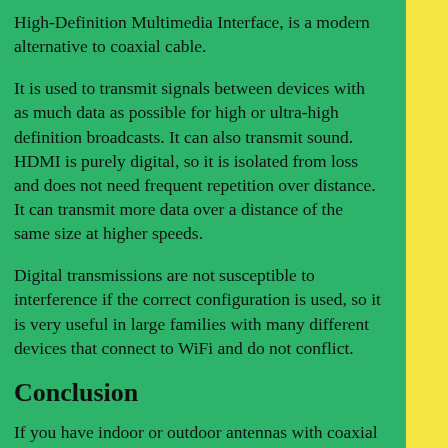High-Definition Multimedia Interface, is a modern alternative to coaxial cable.
It is used to transmit signals between devices with as much data as possible for high or ultra-high definition broadcasts. It can also transmit sound. HDMI is purely digital, so it is isolated from loss and does not need frequent repetition over distance. It can transmit more data over a distance of the same size at higher speeds.
Digital transmissions are not susceptible to interference if the correct configuration is used, so it is very useful in large families with many different devices that connect to WiFi and do not conflict.
Conclusion
If you have indoor or outdoor antennas with coaxial cable and no coaxial input on your TV, you will need a simple OTA adapter from coaxial cable to HDMI, which costs $30 to $50.
1. The low price is due to the fact that no major